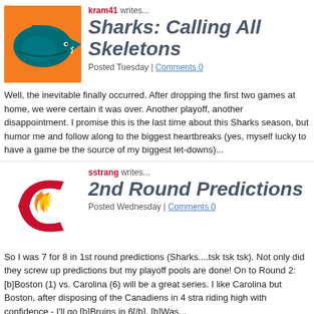[Figure (logo): San Jose Sharks NHL team logo - teal shark on orange background]
Sharks: Calling All Skeletons
kram41 writes...
Posted Tuesday | Comments 0
Well, the inevitable finally occurred. After dropping the first two games at home, we were certain it was over. Another playoff, another disappointment. I promise this is the last time about this Sharks season, but humor me and follow along to the biggest heartbreaks (yes, myself lucky to have a game be the source of my biggest let-downs)...
[Figure (logo): Calgary Flames NHL team logo - red C with flame on black background]
2nd Round Predictions
sstrang writes...
Posted Wednesday | Comments 0
So I was 7 for 8 in 1st round predictions (Sharks....tsk tsk tsk). Not only did they screw up predictions but my playoff pools are done! On to Round 2: [b]Boston (1) vs. Carolina (6) will be a great series. I like Carolina but Boston, after disposing of the Canadiens in 4 stra riding high with confidence - I'll go [b]Bruins in 6[/b]. [b]Was...
[Figure (logo): Los Angeles Kings NHL team logo - black and silver crown shield]
Red Wing Fans....
Kinglove1 writes...
Posted Wednesday | Comments 0
If your interested in tickets for the Wings/Ducks match up in So Cal!!! Go to Stubhub.com thousands of tickets for sale on the site. Most of them are good seats. Looks like a wings...